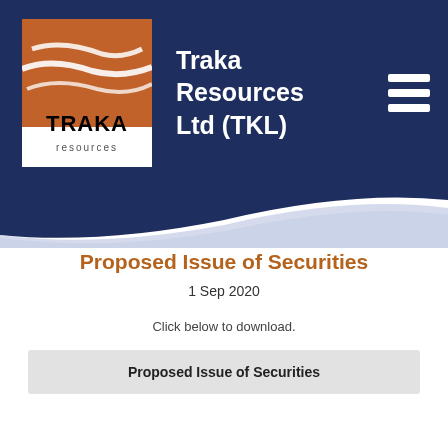Traka Resources Ltd (TKL)
[Figure (logo): Traka Resources logo: orange/brown background with white curved lines and TRAKA resources text]
Proposed Issue of Securities
1 Sep 2020
Click below to download.
Proposed Issue of Securities